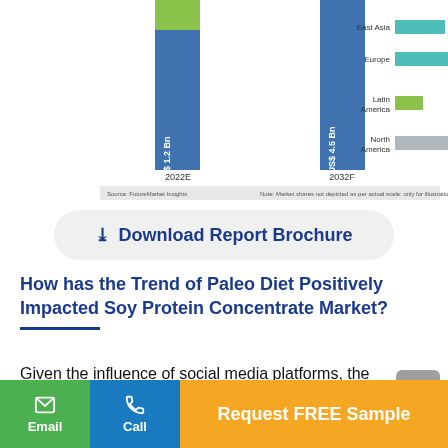[Figure (bar-chart): Bar chart showing market values for 2022E (US$ 1.2 Bn) and 2032F (US$ 4.5 Bn) with regional breakdowns: East Asia, Europe, Latin America, North America]
↓ Download Report Brochure
How has the Trend of Paleo Diet Positively Impacted Soy Protein Concentrate Market?
Given the influence of social media platforms, the popularity of the paleo diet is growing, which will drive consumers toward protein-rich meals, boosting sale